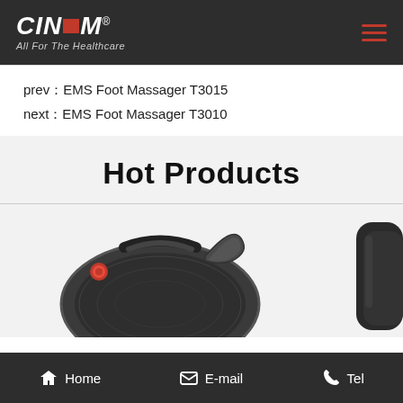[Figure (logo): CINCOM logo with red square and tagline 'All For The Healthcare']
prev：EMS Foot Massager T3015
next：EMS Foot Massager T3010
Hot Products
[Figure (photo): Dark gray massager device with red button and mesh surface, with a strap handle; second partial product visible on right]
Home   E-mail   Tel